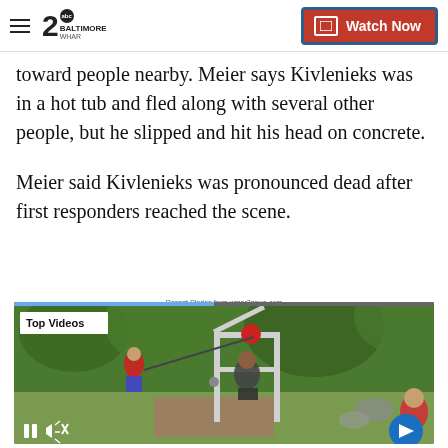WMAR Baltimore 20 — Watch Now
toward people nearby. Meier says Kivlenieks was in a hot tub and fled along with several other people, but he slipped and hit his head on concrete.
Meier said Kivlenieks was pronounced dead after first responders reached the scene.
Recent Stories from wmar2news.com
[Figure (screenshot): Video player thumbnail showing outdoor scene with people near a metal frame structure. Label reads 'Top Videos'. Video controls visible at bottom including pause and mute buttons. Blue next arrow button at bottom right.]